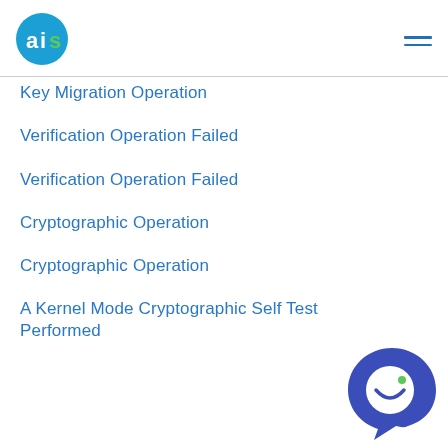AIS logo and navigation
Key Migration Operation
Verification Operation Failed
Verification Operation Failed
Cryptographic Operation
Cryptographic Operation
A Kernel Mode Cryptographic Self Test Performed